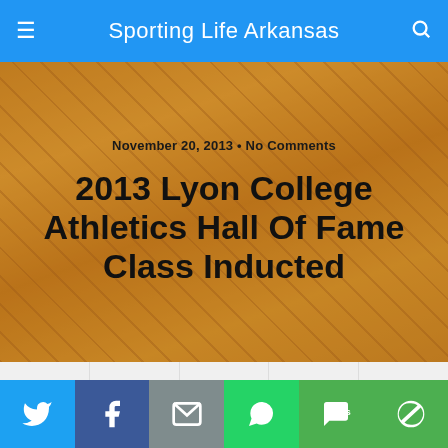Sporting Life Arkansas
[Figure (photo): Group of people posing at the 2013 Lyon College Athletics Hall of Fame induction ceremony, with orange/gold Lyon College branded background]
November 20, 2013 • No Comments
2013 Lyon College Athletics Hall Of Fame Class Inducted
Share  Tweet  Pin  Mail  SMS
Like 0  Share